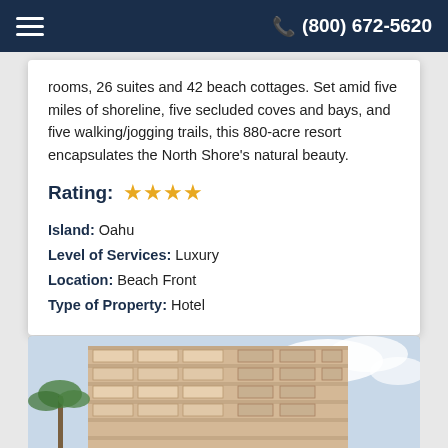(800) 672-5620
rooms, 26 suites and 42 beach cottages. Set amid five miles of shoreline, five secluded coves and bays, and five walking/jogging trails, this 880-acre resort encapsulates the North Shore's natural beauty.
Rating: ★★★★
Island: Oahu
Level of Services: Luxury
Location: Beach Front
Type of Property: Hotel
[Figure (photo): Hotel building exterior with balconies against a partly cloudy sky]